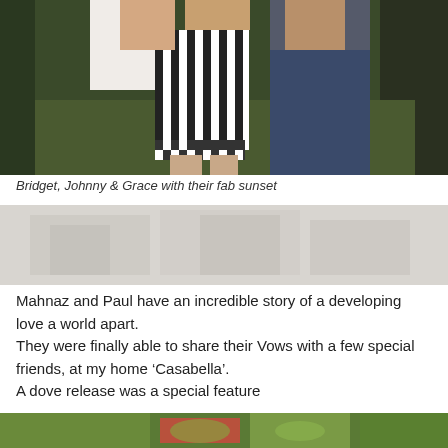[Figure (photo): Photo of Bridget, Johnny and Grace standing together outdoors on grass, with a woman in a black and white striped dress in the center. Watermark reads 'Peta Hardley - Celebrant'.]
Bridget, Johnny & Grace with their fab sunset
[Figure (photo): Faded/blurred background photo, partially visible, appears to show outdoor wedding scene.]
Mahnaz and Paul have an incredible story of a developing love a world apart.
They were finally able to share their Vows with a few special friends, at my home ‘Casabella’.
A dove release was a special feature
[Figure (photo): Bottom cropped photo showing green outdoor scenery, partially visible at bottom of page.]